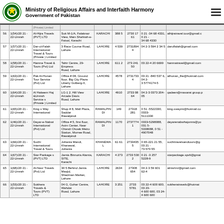Ministry of Religious Affairs and Interfaith Harmony
Government of Pakistan
| # | Reference | Company Name | Address | City | Seats | Reg No | Phone | Email |
| --- | --- | --- | --- | --- | --- | --- | --- | --- |
| 56 | 1(54)/2021-22-Umrah | Al-Hijra Travels (PVT) LTD | Suit M-1/A, Falaknaz View, Main Shahrah-e-Faisal, Karachi | KARACHI | 3885 | 27301761 | 021-34684331, 021-34684330 | alhijratravel.tour@gmail.c |
| 57 | 1(57)/2021-22-Umrah | Dar-ul-Falah International Travel & Tours (Private) Limited | 3 Race Course Road, Lahore | LAHORE | 4539 | 27318944 | 042-35942345 | darulfalah@gmail.com |
| 58 | 1(58)/2021-22-Umrah | Hamna Travel & Tours (Pvt) Ltd | Tahir Centre, 29-Empress Road, Lahore | LAHORE | 6112 | 27324150 | 0322-4206699 | hamnatravel@gmail.com |
| 59 | 1(63)/2021-22-Umrah | Pak Al-Hunan Tour Service (Pvt) Ltd | Office # 08, Ground floor, Big City Plaza Liberty Gulberg-II, Lahore | LAHORE | 4578 | 27317334 | 0321-8405376, 042-35774174-5 | alhunan_lhe@hotmail.com |
| 60 | 1(64)/2021-22-Umrah | Al Hakeem Haj &Umrah Services (Private) Limited | LG-12, Hill View Arcade Davis Road, Lahore | LAHORE | 4910 | 27330864 | 042-30373204-05 | qadeen@masaratgroup.p |
| 61 | 1(65)/2021-22-Umrah | King's Way International | Shop #8, Mall Plaza, Saddar Rawalpindi | RAWALPINDI | 149 | 27318281 | 051-5522330, 0333-5111330 | king.swayint@hotmail.co |
| 62 | 1(46)/2021-22-Umrah | Deyar-e-Nabwi International (Pvt) Ltd | Office # 5, first floor, Asim Center, Near Chandi Chowk Metro Station, Murree Road, Rawalpindi | RAWALPINDI | 1170 | 27377741 | 0333-5298088, 0315-5338088, 051-4907048 | deyarenabwhajumra@yo |
| 63 | 1(66)/2021-22-Umrah | Suchi International Travel & Tours | Johania Mandi, Khanewal, Johania | KHANEWAL | 6161 | 27334355 | 065-2212155, 0321-7357055 | suchitravelsandtours@g |
| 64 | 1(67)/2021-22-Umrah | Star Packages (PVT) LTD | Jamia Binnoria Alamia, SITE, Karachi | KARACHI | 4273 | 27335302 | 021-32575228-9 | starpackage.spvlt@gmai |
| 65 | 1(68)/2021-22-Umrah | Al-Nasr Travels (Pvt) Ltd | 305 Behind Jamia Masjid, Shadman Market, Lahore | LAHORE | 2634 | 27308654 | 042-35960162-4 | alnisrtrvi@gmail.com |
| 66 | 1(53)/2021-22-Umrah | Sukhera Travels & Tours (PVT) LTD | 04 G, Gohar Centre, Wahdat Road, Lahore | LAHORE | 3251 | 27335781 | 0322-4600600, 0323-4600600, 0324-4600600 | sukheratravels@hotmai |